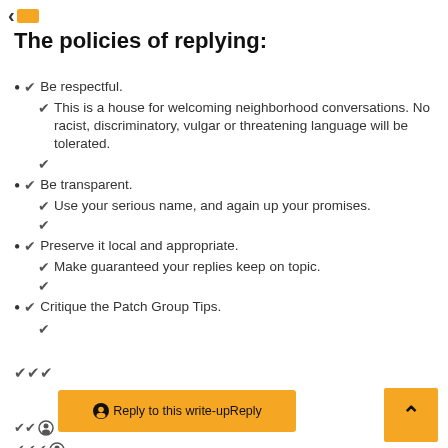<
The policies of replying:
✔ Be respectful.
✔ This is a house for welcoming neighborhood conversations. No racist, discriminatory, vulgar or threatening language will be tolerated.
✔
✔ Be transparent.
✔ Use your serious name, and again up your promises.
✔
✔ Preserve it local and appropriate.
✔ Make guaranteed your replies keep on topic.
✔
✔ Critique the Patch Group Tips.
✔
✔✔✔
✔
🔘Reply to this write-upReply
✔✔🔘
✔✔✔🔘